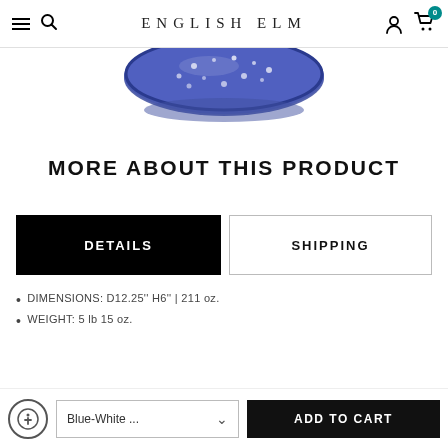ENGLISH ELM
[Figure (photo): Partial view of a blue and white decorative ceramic bowl from above, showing a speckled blue glaze pattern.]
MORE ABOUT THIS PRODUCT
DETAILS  |  SHIPPING (tab buttons)
DIMENSIONS: D12.25'' H6'' | 211 oz.
WEIGHT: 5 lb 15 oz.
Blue-White ... (dropdown) | ADD TO CART